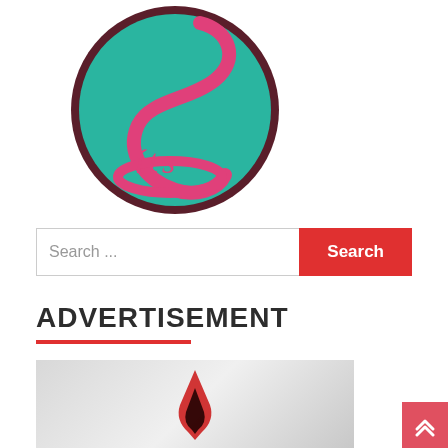[Figure (logo): Circular teal/turquoise logo with a pink S-shaped snake/curve and the text 'its' in pink cursive script, dark maroon border]
Search ...
ADVERTISEMENT
[Figure (photo): Advertisement image with light gray gradient background showing a partial red and black flame or logo shape]